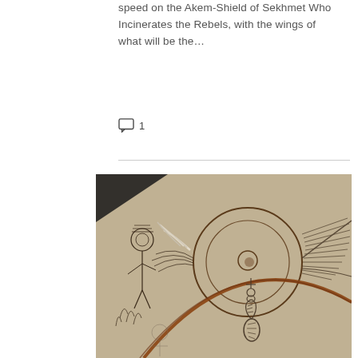speed on the Akem-Shield of Sekhmet Who Incinerates the Rebels, with the wings of what will be the...
1
[Figure (photo): Close-up photograph of a carved stone or clay disc/shield depicting Egyptian-style figures and symbols. Central circular motif with a winged sun disk design, a cobra (uraeus) below, and hieroglyphic figure on the left side. The carving is incised into a sandy beige stone surface with copper/brown inlay lines.]